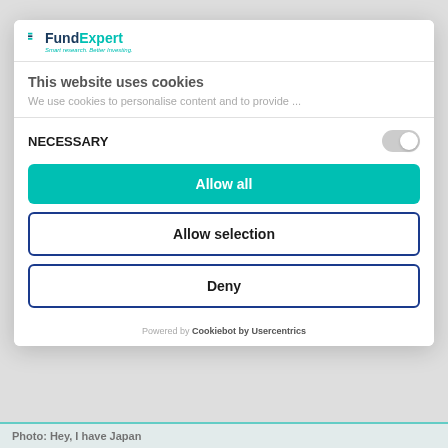[Figure (logo): FundExpert logo with tagline 'Smart research. Better Investing.']
This website uses cookies
We use cookies to personalise content and to provide ...
NECESSARY
Allow all
Allow selection
Deny
Powered by Cookiebot by Usercentrics
Photo: Hey, I have Japan